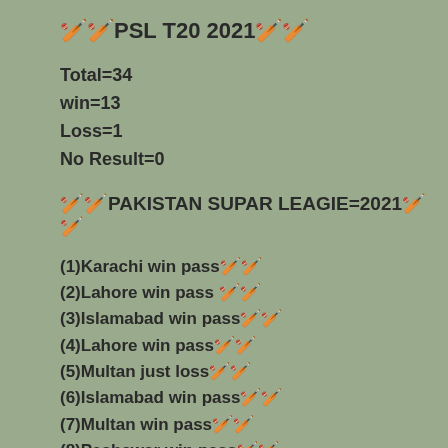🏏PSL T20 2021🏏
Total=34
win=13
Loss=1
No Result=0
🏏PAKISTAN SUPAR LEAGIE=2021🏏
(1)Karachi win pass🏏
(2)Lahore win pass 🏏
(3)Islamabad win pass🏏
(4)Lahore win pass🏏
(5)Multan just loss🏏
(6)Islamabad win pass🏏
(7)Multan win pass🏏
(8)Peshawar win pass🏏
(9)Karachi win pass🏏
(10)Peshawar win 🏏
(11)Lahore win pass🏏
(12)Islamabad United win pass🏏
(13)Karachi kings win pass🏏